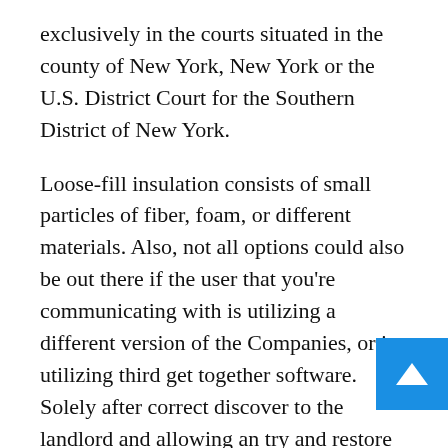exclusively in the courts situated in the county of New York, New York or the U.S. District Court for the Southern District of New York.
Loose-fill insulation consists of small particles of fiber, foam, or different materials. Also, not all options could also be out there if the user that you’re communicating with is utilizing a different version of the Companies, or is utilizing third get together software. Solely after correct discover to the landlord and allowing an try and restore can a tenant serve a notice to terminate the lease.
The firm holds the document;Â with the most completed (we only design not build)Â passive houseÂ tasks in CanadaÂ and is one among No America’s leading experts in the identical self- discipline. Constructing insulations also commonly